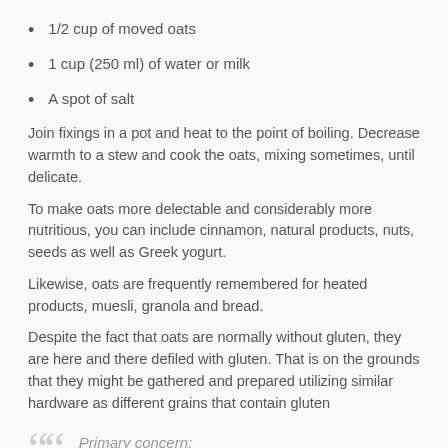1/2 cup of moved oats
1 cup (250 ml) of water or milk
A spot of salt
Join fixings in a pot and heat to the point of boiling. Decrease warmth to a stew and cook the oats, mixing sometimes, until delicate.
To make oats more delectable and considerably more nutritious, you can include cinnamon, natural products, nuts, seeds as well as Greek yogurt.
Likewise, oats are frequently remembered for heated products, muesli, granola and bread.
Despite the fact that oats are normally without gluten, they are here and there defiled with gluten. That is on the grounds that they might be gathered and prepared utilizing similar hardware as different grains that contain gluten
Primary concern: